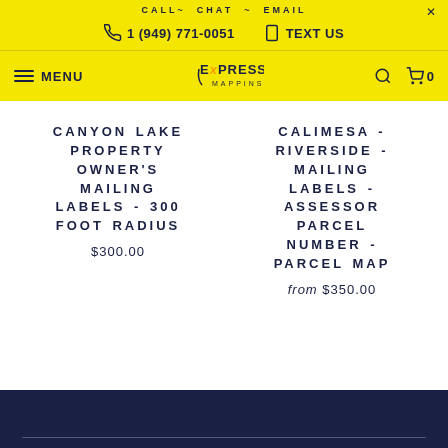CALL~ CHAT ~ EMAIL  X
1 (949) 771-0051  TEXT US
MENU  EXPRESS MAPPINS  0
CANYON LAKE PROPERTY OWNER'S MAILING LABELS - 300 FOOT RADIUS
$300.00
CALIMESA - RIVERSIDE - MAILING LABELS - ASSESSOR PARCEL NUMBER - PARCEL MAP
from $350.00